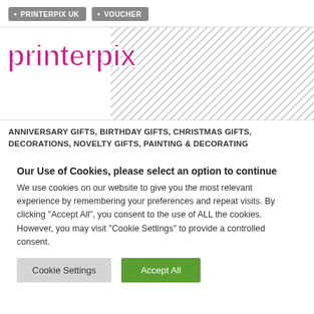PRINTERPIX UK · VOUCHER
[Figure (logo): PrinterPix logo with pink/magenta stylized text on white background, with diagonal hatched grey area to the right]
ANNIVERSARY GIFTS, BIRTHDAY GIFTS, CHRISTMAS GIFTS, DECORATIONS, NOVELTY GIFTS, PAINTING & DECORATING
Our Use of Cookies, please select an option to continue
We use cookies on our website to give you the most relevant experience by remembering your preferences and repeat visits. By clicking "Accept All", you consent to the use of ALL the cookies. However, you may visit "Cookie Settings" to provide a controlled consent.
Cookie Settings | Accept All